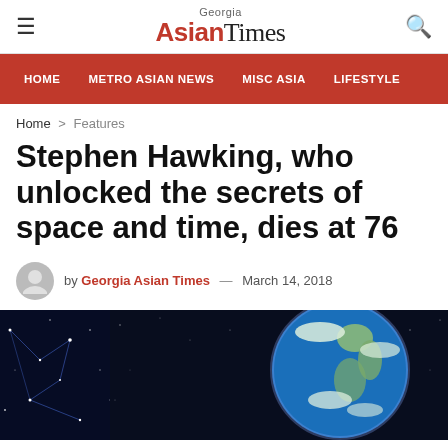Georgia Asian Times
HOME   METRO ASIAN NEWS   MISC ASIA   LIFESTYLE
Home > Features
Stephen Hawking, who unlocked the secrets of space and time, dies at 76
by Georgia Asian Times — March 14, 2018
[Figure (photo): Space photo showing Earth from orbit against a dark star-filled sky background]